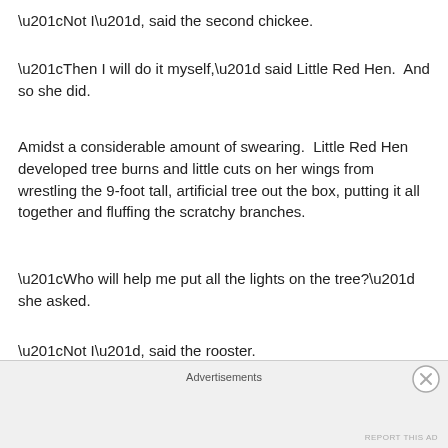“Not I”, said the second chickee.
“Then I will do it myself,” said Little Red Hen.  And so she did.
Amidst a considerable amount of swearing.  Little Red Hen developed tree burns and little cuts on her wings from wrestling the 9-foot tall, artificial tree out the box, putting it all together and fluffing the scratchy branches.
“Who will help me put all the lights on the tree?” she asked.
“Not I”, said the rooster.
“Not I”, said the first chick…
Advertisements